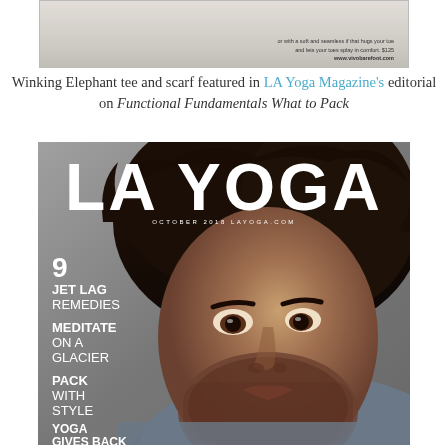[Figure (photo): Top portion of a product image showing text about price $125 and website www.vivobarefoot.com, with beige/cream background]
Winking Elephant tee and scarf featured in LA Yoga Magazine's editorial on Functional Fundamentals What to Pack
[Figure (photo): LA Yoga Magazine cover featuring a man with curly dark hair and beard looking at camera. Cover text includes: LA YOGA, OCTOBER 2018 LAYOGA.COM, 9 JET LAG REMEDIES, MEDITATE ON A GLACIER, PACK WITH STYLE, YOGA GIVES BACK GOES TO INDIA, RETREAT]